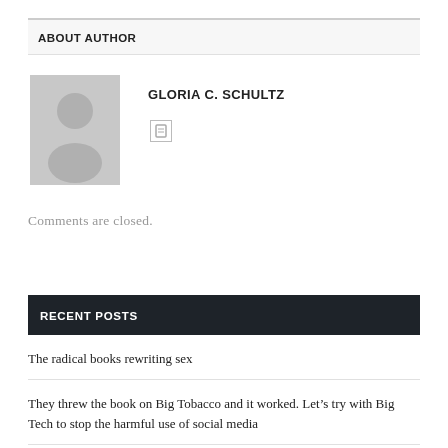ABOUT AUTHOR
[Figure (illustration): Generic author avatar silhouette on grey background]
GLORIA C. SCHULTZ
Comments are closed.
RECENT POSTS
The radical books rewriting sex
They threw the book on Big Tobacco and it worked. Let’s try with Big Tech to stop the harmful use of social media